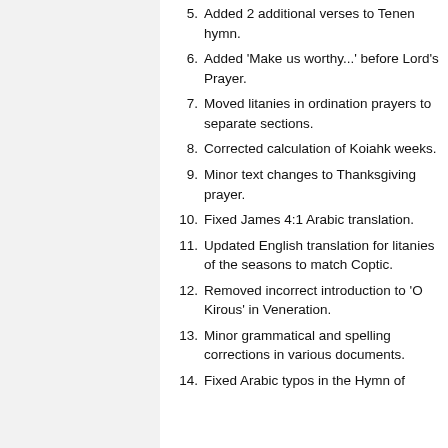5. Added 2 additional verses to Tenen hymn.
6. Added 'Make us worthy...' before Lord's Prayer.
7. Moved litanies in ordination prayers to separate sections.
8. Corrected calculation of Koiahk weeks.
9. Minor text changes to Thanksgiving prayer.
10. Fixed James 4:1 Arabic translation.
11. Updated English translation for litanies of the seasons to match Coptic.
12. Removed incorrect introduction to 'O Kirous' in Veneration.
13. Minor grammatical and spelling corrections in various documents.
14. Fixed Arabic typos in the Hymn of